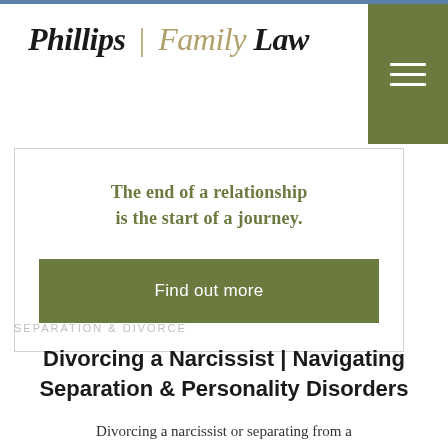Phillips | Family Law
The end of a relationship is the start of a journey.
Find out more
SEPARATION & DIVORCE
Divorcing a Narcissist | Navigating Separation & Personality Disorders
Divorcing a narcissist or separating from a partner who has a personality disorder or